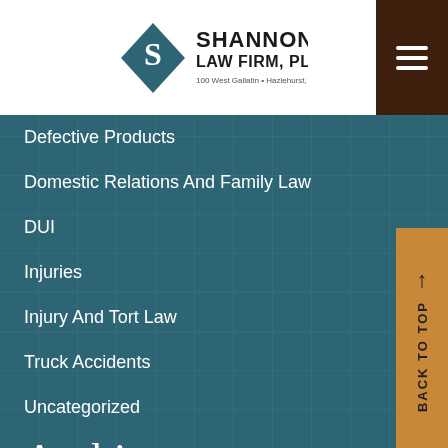Shannon Law Firm, PLLC — 100 West Gallatin • Hazlehurst, MS 39083
Defective Products
Domestic Relations And Family Law
DUI
Injuries
Injury And Tort Law
Truck Accidents
Uncategorized
Archives
August 2022
July 2022